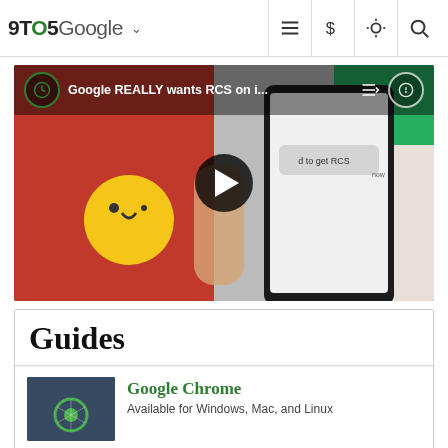9TO5Google
[Figure (screenshot): YouTube video thumbnail showing a hand holding a smartphone with messaging app open, with winking emoji. Video title: 'Google REALLY wants RCS on i...' with play button overlay.]
Guides
[Figure (photo): Thumbnail image of a dark device with Google Chrome logo]
Google Chrome
Available for Windows, Mac, and Linux